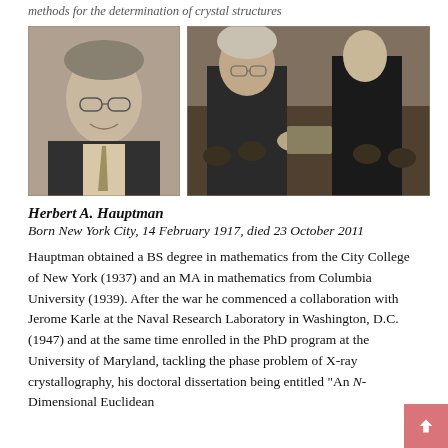methods for the determination of crystal structures
[Figure (photo): Portrait photo of Herbert A. Hauptman, an older man with glasses, smiling, in black and white sepia tone]
[Figure (photo): Black and white photo of Herbert A. Hauptman receiving an award (Nobel Prize ceremony), shaking hands with a man in formal attire, audience in background]
Herbert A. Hauptman
Born New York City, 14 February 1917, died 23 October 2011
Hauptman obtained a BS degree in mathematics from the City College of New York (1937) and an MA in mathematics from Columbia University (1939). After the war he commenced a collaboration with Jerome Karle at the Naval Research Laboratory in Washington, D.C. (1947) and at the same time enrolled in the PhD program at the University of Maryland, tackling the phase problem of X-ray crystallography, his doctoral dissertation being entitled "An N-Dimensional Euclidean